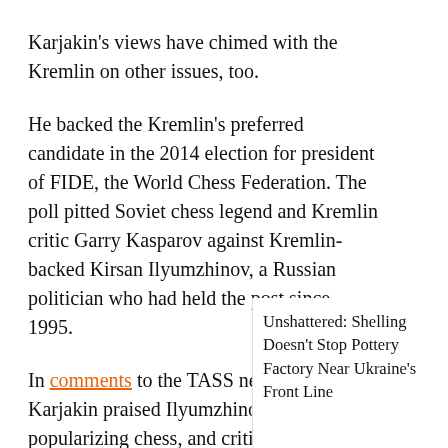Karjakin's views have chimed with the Kremlin on other issues, too.
He backed the Kremlin's preferred candidate in the 2014 election for president of FIDE, the World Chess Federation. The poll pitted Soviet chess legend and Kremlin critic Garry Kasparov against Kremlin-backed Kirsan Ilyumzhinov, a Russian politician who had held the post since 1995.
In comments to the TASS news agency, Karjakin praised Ilyumzhinov for popularizing chess, and criticized Kasparov for being a bad manager and having "ultrara[...]" the latter's op[...]
Youngest Ever
[Figure (other): Overlay widget showing an orange arrow bar, video icon, grey area with arrow, and right panel with text 'Unshattered: Shelling Doesn't Stop Pottery Factory Near Ukraine's Front Line']
Unshattered: Shelling Doesn't Stop Pottery Factory Near Ukraine's Front Line